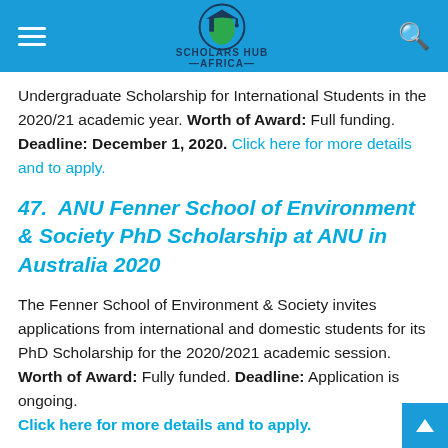Scholars Hub Africa
Undergraduate Scholarship for International Students in the 2020/21 academic year. Worth of Award: Full funding. Deadline: December 1, 2020. Click here for more details and to apply.
47. ANU Fenner School of Environment & Society PhD Scholarship at ANU in Australia 2020
The Fenner School of Environment & Society invites applications from international and domestic students for its PhD Scholarship for the 2020/2021 academic session. Worth of Award: Fully funded. Deadline: Application is ongoing. Click here for more details and to apply.